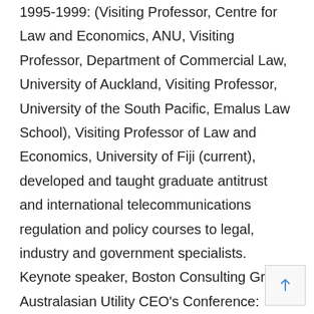1995-1999: (Visiting Professor, Centre for Law and Economics, ANU, Visiting Professor, Department of Commercial Law, University of Auckland, Visiting Professor, University of the South Pacific, Emalus Law School), Visiting Professor of Law and Economics, University of Fiji (current), developed and taught graduate antitrust and international telecommunications regulation and policy courses to legal, industry and government specialists. Keynote speaker, Boston Consulting Group Australasian Utility CEO's Conference: Competition Law in the Energy Industry. Advised many leading Australian and New Zealand companies and world's largest media and telecommunications firms in the USA, Europe and Pacific regions, including British Telecom, MCI, new entrants in